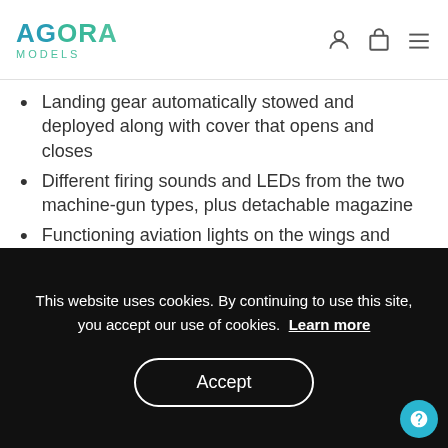AGORA MODELS
Landing gear automatically stowed and deployed along with cover that opens and closes
Different firing sounds and LEDs from the two machine-gun types, plus detachable magazine
Functioning aviation lights on the wings and taillights
Detachable drop tank and bombs
Highly detailed cockpit with moveable canopy, pilot and interior
This website uses cookies. By continuing to use this site, you accept our use of cookies. Learn more
Accept